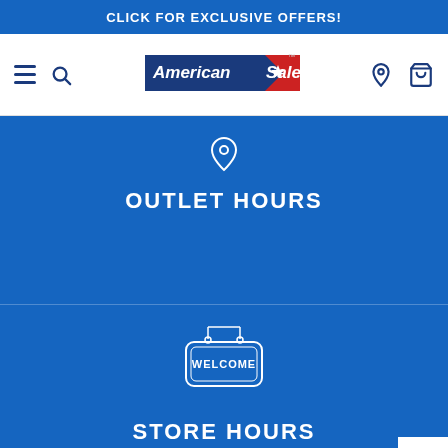CLICK FOR EXCLUSIVE OFFERS!
[Figure (logo): American Sale logo with blue and red design, white star, TM mark]
OUTLET HOURS
[Figure (illustration): Welcome sign icon in white outline on blue background]
STORE HOURS